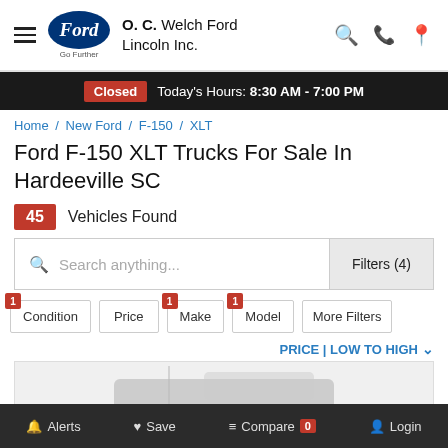O. C. Welch Ford Lincoln Inc. — Go Further
Closed — Today's Hours: 8:30 AM - 7:00 PM
Home / New Ford / F-150 / XLT
Ford F-150 XLT Trucks For Sale In Hardeeville SC
45 Vehicles Found
Search anything...   Filters (4)
Condition  Price  Make  Model  More Filters
PRICE | LOW TO HIGH
[Figure (photo): Partial view of a Ford F-150 truck in a vehicle listing card]
Alerts  Save  Compare 0  Login